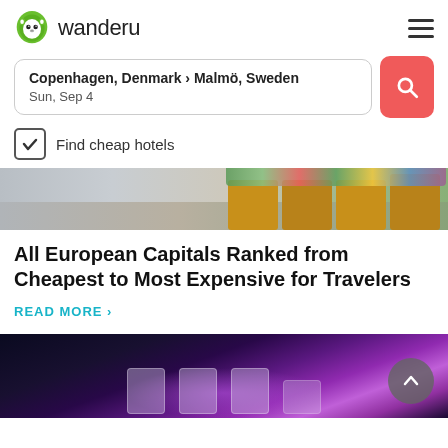wanderu
Copenhagen, Denmark › Malmö, Sweden
Sun, Sep 4
Find cheap hotels
[Figure (photo): Cobblestone street with wooden planters containing colorful flowers and green plants]
All European Capitals Ranked from Cheapest to Most Expensive for Travelers
READ MORE ›
[Figure (photo): Dark scene with purple and pink glowing light, showing what appears to be illuminated cards or screens at the bottom]